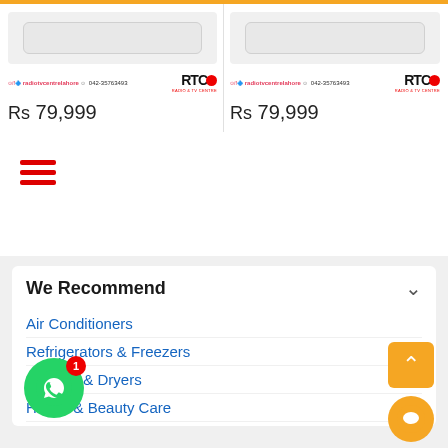[Figure (screenshot): Product card: air conditioner image placeholder with RTC brand logo and price Rs 79,999]
Rs 79,999
[Figure (screenshot): Product card: air conditioner image placeholder with RTC brand logo and price Rs 79,999]
Rs 79,999
[Figure (infographic): Hamburger menu icon with three red horizontal lines]
We Recommend
Air Conditioners
Refrigerators & Freezers
er & Dryers
Health & Beauty Care